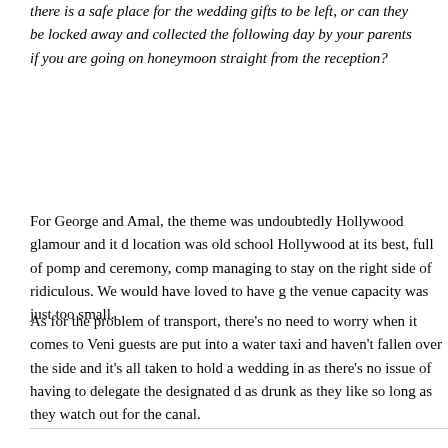there is a safe place for the wedding gifts to be left, or can they be locked away and collected the following day by your parents if you are going on honeymoon straight from the reception?
For George and Amal, the theme was undoubtedly Hollywood glamour and it d location was old school Hollywood at its best, full of pomp and ceremony, comp managing to stay on the right side of ridiculous. We would have loved to have g the venue capacity was just too small.
As for the problem of transport, there's no need to worry when it comes to Veni guests are put into a water taxi and haven't fallen over the side and it's all taken to hold a wedding in as there's no issue of having to delegate the designated d as drunk as they like so long as they watch out for the canal.
Venue: check. Transport: check. Designer dress: we're pretty sure Oxfam has a wedding dresses that you can rifle through and hopefully pick up a bargain.